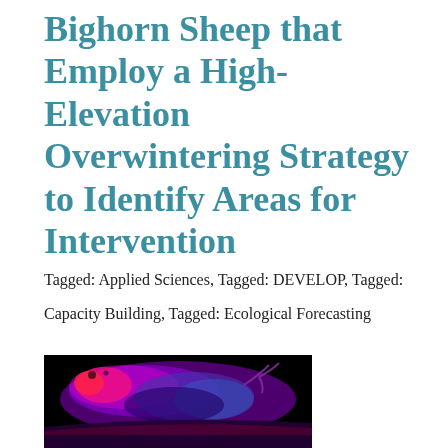Bighorn Sheep that Employ a High-Elevation Overwintering Strategy to Identify Areas for Intervention
Tagged: Applied Sciences, Tagged: DEVELOP, Tagged: Capacity Building, Tagged: Ecological Forecasting
[Figure (photo): False-color satellite or remote sensing image showing terrain in black, with a landmass rendered in shades of purple, blue, and red/pink, against a black background. The image appears to be an infrared or multispectral remote sensing image of a mountainous or elevated terrain area.]